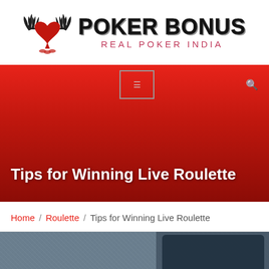[Figure (logo): Poker Bonus Real Poker India logo with winged heart/spade emblem]
[Figure (screenshot): Red gradient navigation banner with hamburger menu box and search icon]
Tips for Winning Live Roulette
Home / Roulette / Tips for Winning Live Roulette
[Figure (photo): Partial photo of a phone or device on a denim/fabric surface]